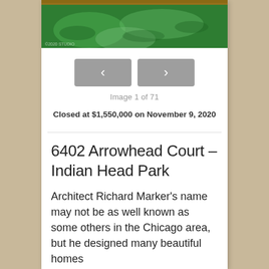[Figure (photo): Aerial or ground-level photo showing green grass lawn with shadows, partial wooden border visible at top]
Image 1 of 71
Closed at $1,550,000 on November 9, 2020
6402 Arrowhead Court – Indian Head Park
Architect Richard Marker's name may not be as well known as some others in the Chicago area, but he designed many beautiful homes